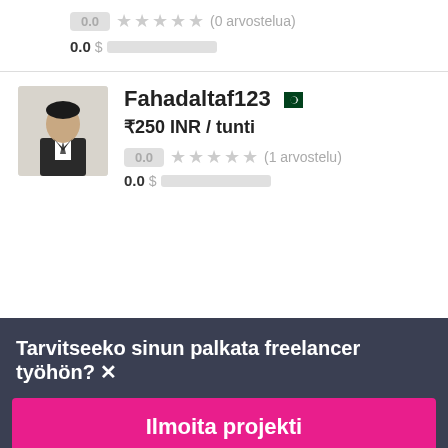0.0 ★★★★★ (0 arvostelua)
0.0 $░░░░░░░░░░
Fahadaltaf123 🇵🇰
₹250 INR / tunti
0.0 ★★★★★ (1 arvostelu)
0.0 $░░░░░░░░░░
[Figure (photo): Profile photo of freelancer Fahadaltaf123, a man in a dark suit standing in front of a light background]
Tarvitseeko sinun palkata freelancer työhön?
Ilmoita projekti